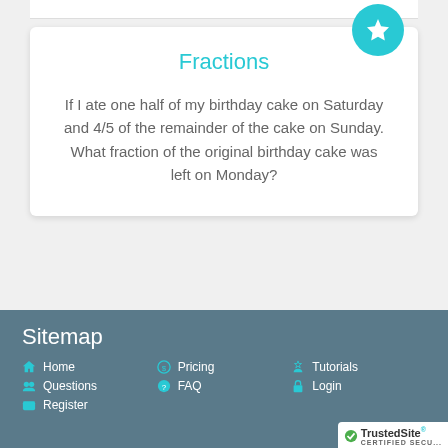Fractions
If I ate one half of my birthday cake on Saturday and 4/5 of the remainder of the cake on Sunday. What fraction of the original birthday cake was left on Monday?
Sitemap
Home
Questions
Register
Pricing
FAQ
Tutorials
Login
[Figure (logo): TrustedSite certified secure badge]